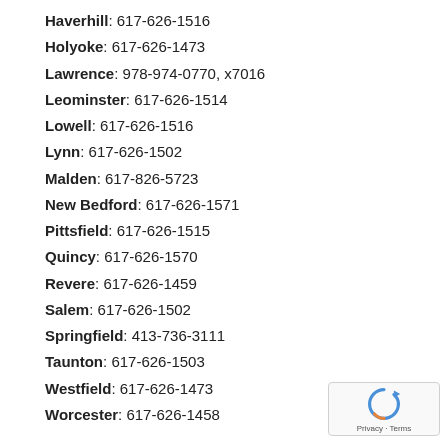Haverhill: 617-626-1516
Holyoke: 617-626-1473
Lawrence: 978-974-0770, x7016
Leominster: 617-626-1514
Lowell: 617-626-1516
Lynn: 617-626-1502
Malden: 617-826-5723
New Bedford: 617-626-1571
Pittsfield: 617-626-1515
Quincy: 617-626-1570
Revere: 617-626-1459
Salem: 617-626-1502
Springfield: 413-736-3111
Taunton: 617-626-1503
Westfield: 617-626-1473
Worcester: 617-626-1458